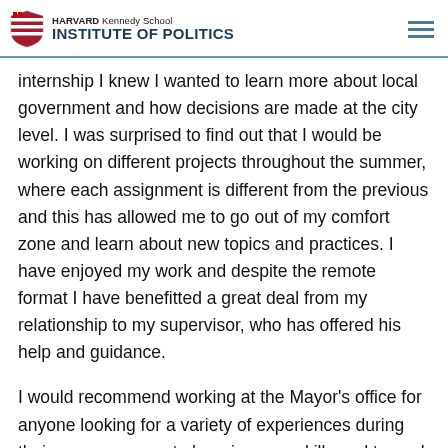HARVARD Kennedy School INSTITUTE OF POLITICS
internship I knew I wanted to learn more about local government and how decisions are made at the city level. I was surprised to find out that I would be working on different projects throughout the summer, where each assignment is different from the previous and this has allowed me to go out of my comfort zone and learn about new topics and practices. I have enjoyed my work and despite the remote format I have benefitted a great deal from my relationship to my supervisor, who has offered his help and guidance.
I would recommend working at the Mayor's office for anyone looking for a variety of experiences during their summer, open to learning new skills and to work on new and interesting projects every week. The office is a very welcoming environment and you will enjoy the work you